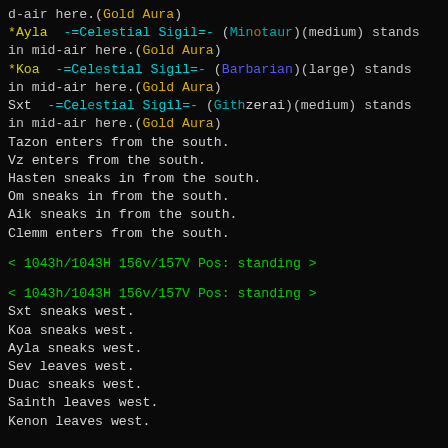d-air here.(Gold Aura)
*Ayla  -=Celestial Sigil=- (Minotaur)(medium) stands in mid-air here.(Gold Aura)
*Koa  -=Celestial Sigil=- (Barbarian)(large) stands in mid-air here.(Gold Aura)
Sxt  -=Celestial Sigil=- (Githzerai)(medium) stands in mid-air here.(Gold Aura)
Tazon enters from the south.
Vz enters from the south.
Hasten sneaks in from the south.
Om sneaks in from the south.
Aik sneaks in from the south.
Clemm enters from the south.
< 1043h/1043H 156v/157V Pos: standing >
< 1043h/1043H 156v/157V Pos: standing >
Sxt sneaks west.
Koa sneaks west.
Ayla sneaks west.
Sev leaves west.
Duac sneaks west.
Sainth leaves west.
Kenon leaves west.